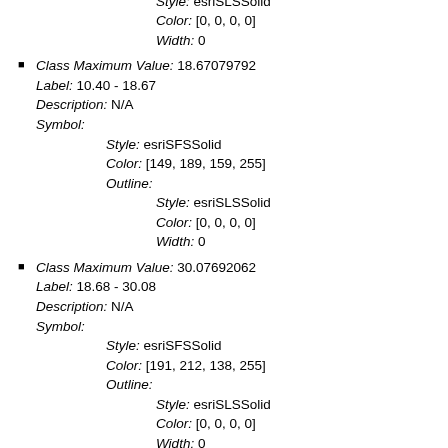Color: [104, 100, 170, 200]
Outline:
    Style: esriSLSSolid
    Color: [0, 0, 0, 0]
    Width: 0
Class Maximum Value: 18.67079792
Label: 10.40 - 18.67
Description: N/A
Symbol:
    Style: esriSFSSolid
    Color: [149, 189, 159, 255]
    Outline:
        Style: esriSLSSolid
        Color: [0, 0, 0, 0]
        Width: 0
Class Maximum Value: 30.07692062
Label: 18.68 - 30.08
Description: N/A
Symbol:
    Style: esriSFSSolid
    Color: [191, 212, 138, 255]
    Outline:
        Style: esriSLSSolid
        Color: [0, 0, 0, 0]
        Width: 0
Class Maximum Value: 45.78152237
Label: 30.09 - 45.78
Description: N/A